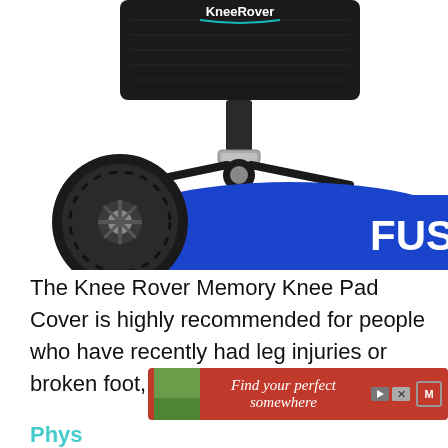[Figure (photo): Close-up photo of a Knee Rover mobility scooter showing the black knee pad/seat at top, the metal adjustment column with clamp, handlebars mechanism, a black rubber tire wheel on the left, and a bright blue body panel on the lower right with the letters 'FUS' visible in white.]
The Knee Rover Memory Knee Pad Cover is highly recommended for people who have recently had leg injuries or broken foot, and any medical condition.
[Figure (screenshot): Advertisement banner with red background reading 'Find your perfect somewhere' with a thumbnail image and playback/close icons.]
Phys